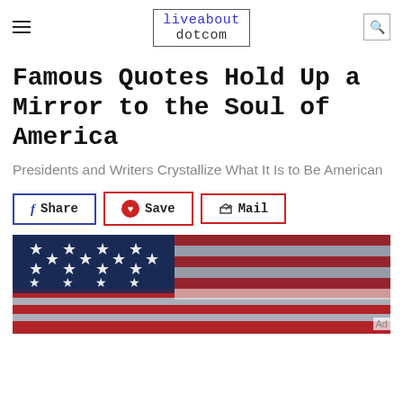liveabout dotcom
Famous Quotes Hold Up a Mirror to the Soul of America
Presidents and Writers Crystallize What It Is to Be American
[Figure (screenshot): American flag close-up with stars and stripes, blue and red tones]
Ad